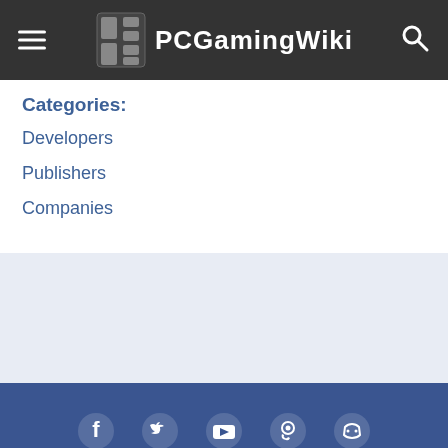PCGamingWiki
Categories:
Developers
Publishers
Companies
[Figure (other): Light blue background section]
Social icons (Facebook, Twitter, YouTube, Steam, Discord), PCGamingWiki, About us